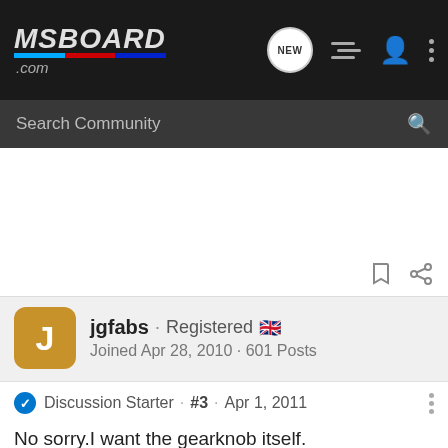MSBOARD .com
Search Community
jgfabs · Registered 🇬🇧
Joined Apr 28, 2010 · 601 Posts
Discussion Starter · #3 · Apr 1, 2011
No sorry.I want the gearknob itself.